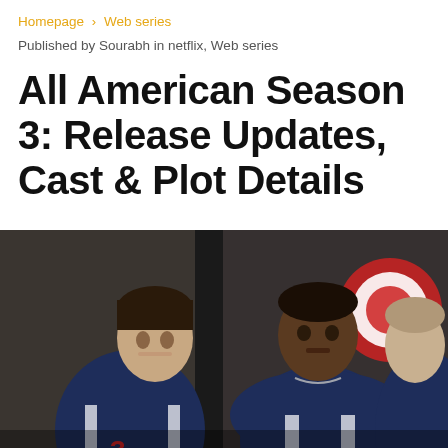Homepage › Web series
Published by Sourabh in netflix, Web series
All American Season 3: Release Updates, Cast & Plot Details
[Figure (photo): Three young men in navy blue football uniforms standing in what appears to be a locker room or facility. A white male with dark hair on the left, a Black male in the center looking forward, and a partial view of a third player on the right. A red and white circular target/logo is visible in the background.]